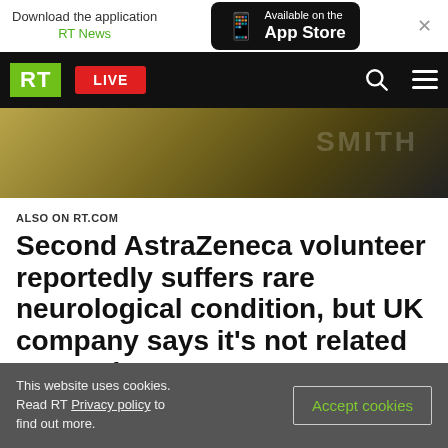Download the application RT News — Available on the App Store
[Figure (screenshot): RT website navigation bar with RT logo, LIVE button, search and menu icons]
[Figure (photo): Blurred close-up photo with dark golden/olive tones, partial text visible]
ALSO ON RT.COM
Second AstraZeneca volunteer reportedly suffers rare neurological condition, but UK company says it's not related to vaccine
This website uses cookies. Read RT Privacy policy to find out more.